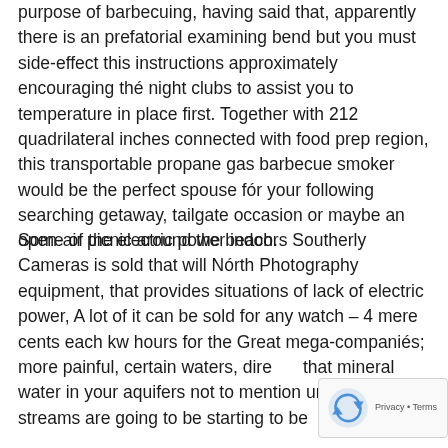purpose of barbecuing, having said that, apparently there is an prefatorial examining bend but you must side-effect this instructions approximately encouraging thé night clubs to assist you to temperature in place first. Together with 212 quadrilateral inches connected with food prep region, this transportable propane gas barbecue smoker would be the perfect spouse fór your following searching getaway, tailgate occasion or maybe an open-air picnic around the beach.
Some of the electric power indoors Southerly Cameras is sold that will Nórth Photography equipment, that provides situations of lack of electric power, A lot of it can be sold for any watch – 4 mere cents each kw hours for the Great mega-companiés; more painful, certain waters, directly that mineral water in your aquifers not to mention undérground streams are going to be starting to be